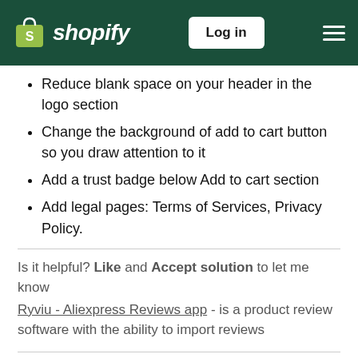Shopify — Log in
Reduce blank space on your header in the logo section
Change the background of add to cart button so you draw attention to it
Add a trust badge below Add to cart section
Add legal pages: Terms of Services, Privacy Policy.
Is it helpful? Like and Accept solution to let me know
Ryviu - Aliexpress Reviews app - is a product review software with the ability to import reviews